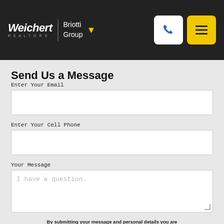Weichert REALTORS | Briotti Group
Send Us a Message
Enter Your Email
Enter Your Cell Phone
Your Message
I have a question.
By submitting your message and personal details you are